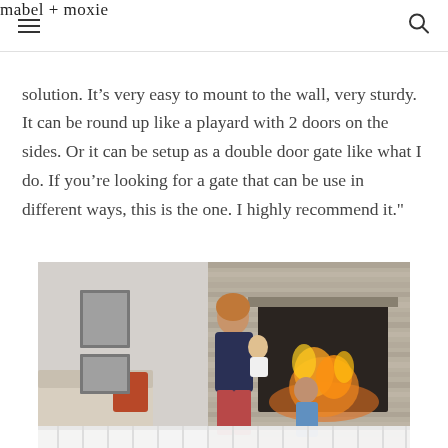mabel + moxie
solution. It’s very easy to mount to the wall, very sturdy. It can be round up like a playard with 2 doors on the sides. Or it can be setup as a double door gate like what I do. If you’re looking for a gate that can be use in different ways, this is the one. I highly recommend it."
[Figure (photo): A woman holding a baby stands in a living room in front of a stone fireplace with a fire burning inside. A young child stands beside her. A white safety gate is visible in the foreground.]